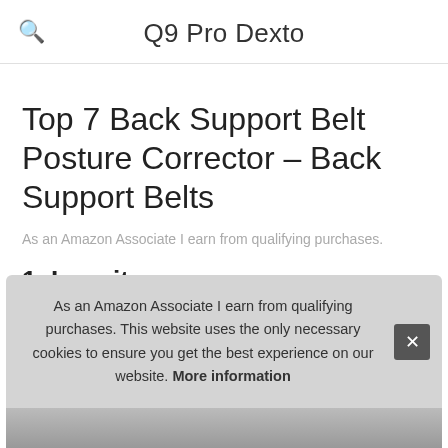Q9 Pro Dexto
Top 7 Back Support Belt Posture Corrector – Back Support Belts
As an Amazon Associate I earn from qualifying purchases.
1. Loovit
#ad
As an Amazon Associate I earn from qualifying purchases. This website uses the only necessary cookies to ensure you get the best experience on our website. More information